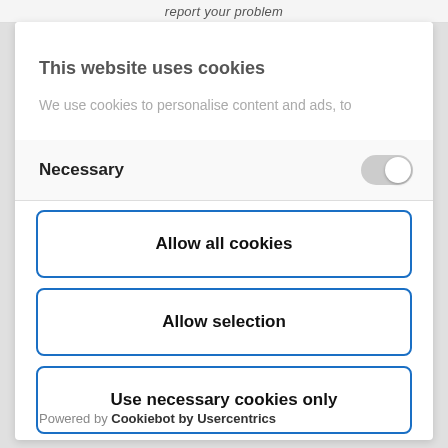report your problem
This website uses cookies
We use cookies to personalise content and ads, to
Necessary
Allow all cookies
Allow selection
Use necessary cookies only
Powered by Cookiebot by Usercentrics